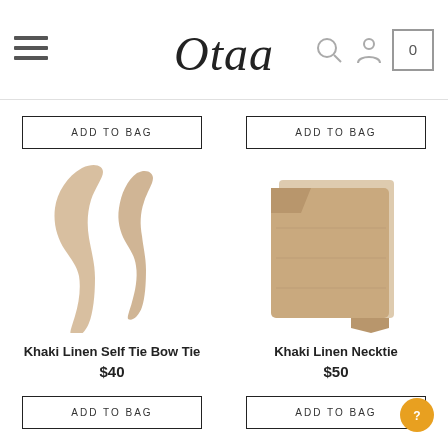Otaa - online accessories store
[Figure (photo): Khaki Linen Self Tie Bow Tie product photo showing two bow tie shapes unfolded]
Khaki Linen Self Tie Bow Tie
$40
[Figure (photo): Khaki Linen Necktie product photo showing folded khaki linen tie]
Khaki Linen Necktie
$50